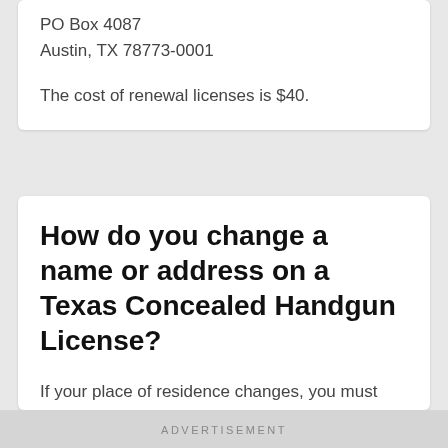PO Box 4087
Austin, TX 78773-0001
The cost of renewal licenses is $40.
How do you change a name or address on a Texas Concealed Handgun License?
If your place of residence changes, you must notify the Department of Public Safety within 30 days of the address change. You must provide them with the former and new addresses. You can then apply for a duplicate Texas concealed carry license for a cost of $25. You can request the address change through their online renewal form or fill out the
ADVERTISEMENT